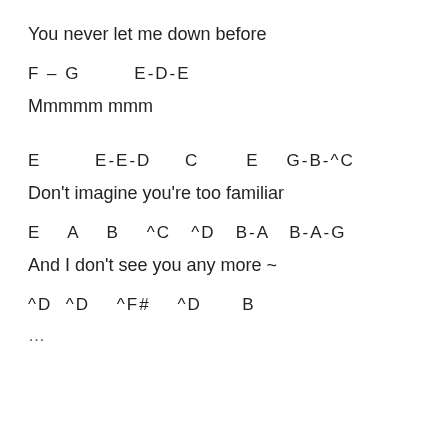You never let me down before
F – G        E-D-E
Mmmmm mmm
E        E-E-D      C        E    G-B-^C
Don't imagine you're too familiar
E    A    B    ^C   ^D   B-A   B-A-G
And I don't see you any more ~
^D  ^D   ^F#   ^D     B
…